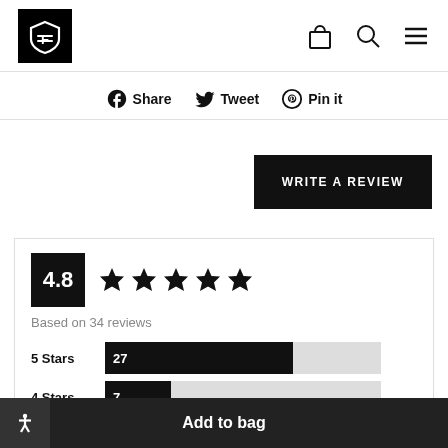[Figure (logo): Shield/badge logo in white on black square background]
[Figure (illustration): Shopping bag icon, search icon, hamburger menu icon in header]
Share   Tweet   Pin it
WRITE A REVIEW
4.8
Based on 34 reviews
| Stars | Count |
| --- | --- |
| 5 Stars | 27 |
| 4 Stars | 7 |
| 3 Stars | 0 |
Add to bag